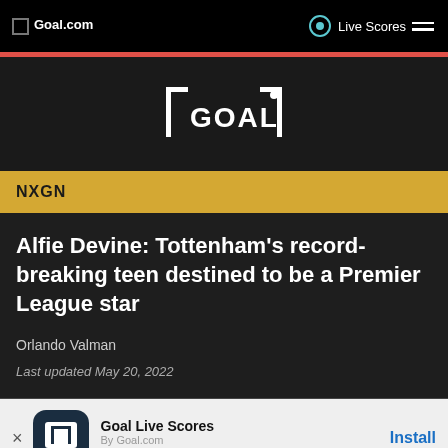Goal.com | Live Scores
[Figure (logo): GOAL logo in white on dark background, bracket/goalpost style]
NXGN
Alfie Devine: Tottenham's record-breaking teen destined to be a Premier League star
Orlando Valman
Last updated May 20, 2022
Goal Live Scores
By Goal.com
Fastest Live Score App
Install